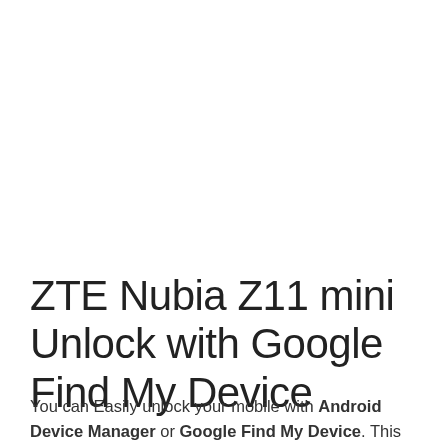ZTE Nubia Z11 mini Unlock with Google Find My Device
You can Easily unlock your mobile with Android Device Manager or Google Find My Device. This method also erases